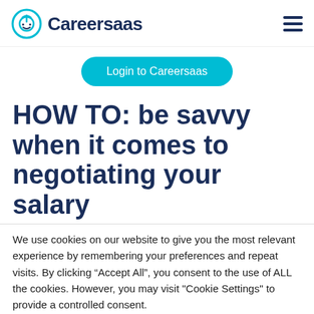Careersaas
Login to Careersaas
HOW TO: be savvy when it comes to negotiating your salary
We use cookies on our website to give you the most relevant experience by remembering your preferences and repeat visits. By clicking “Accept All”, you consent to the use of ALL the cookies. However, you may visit "Cookie Settings" to provide a controlled consent.
Cookie Settings | Accept All